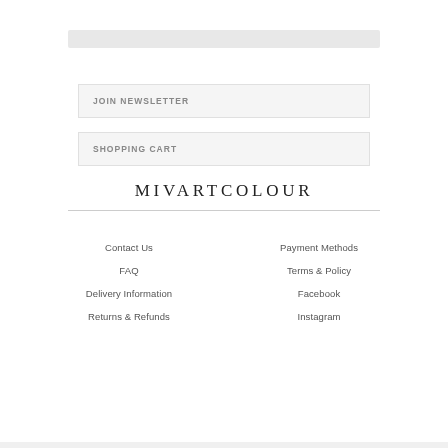[Figure (other): Gray placeholder bar at top of page]
JOIN NEWSLETTER
SHOPPING CART
MIVARTCOLOUR
Contact Us
Payment Methods
FAQ
Terms & Policy
Delivery Information
Facebook
Returns & Refunds
Instagram